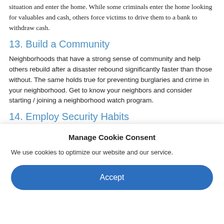situation and enter the home. While some criminals enter the home looking for valuables and cash, others force victims to drive them to a bank to withdraw cash.
13. Build a Community
Neighborhoods that have a strong sense of community and help others rebuild after a disaster rebound significantly faster than those without. The same holds true for preventing burglaries and crime in your neighborhood. Get to know your neighbors and consider starting / joining a neighborhood watch program.
14. Employ Security Habits
Create a habit of locking all windows and doors when you leave the
Manage Cookie Consent
We use cookies to optimize our website and our service.
Accept